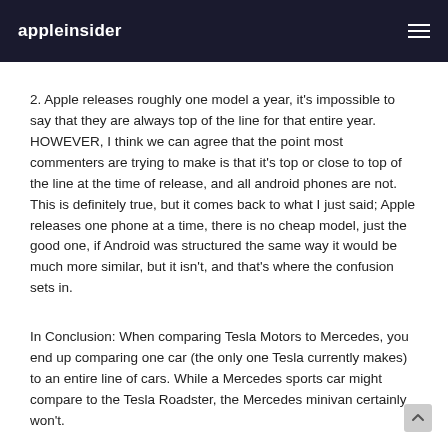appleinsider
2. Apple releases roughly one model a year, it's impossible to say that they are always top of the line for that entire year. HOWEVER, I think we can agree that the point most commenters are trying to make is that it's top or close to top of the line at the time of release, and all android phones are not. This is definitely true, but it comes back to what I just said; Apple releases one phone at a time, there is no cheap model, just the good one, if Android was structured the same way it would be much more similar, but it isn't, and that's where the confusion sets in.
In Conclusion: When comparing Tesla Motors to Mercedes, you end up comparing one car (the only one Tesla currently makes) to an entire line of cars. While a Mercedes sports car might compare to the Tesla Roadster, the Mercedes minivan certainly won't.